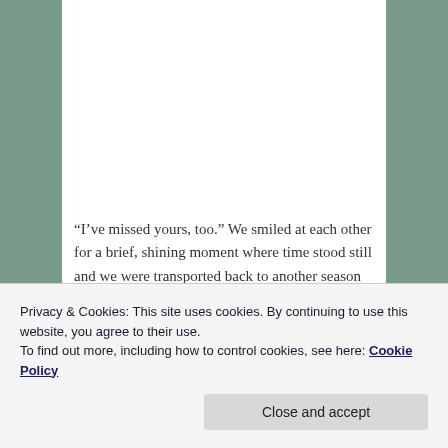“I’ve missed yours, too.” We smiled at each other for a brief, shining moment where time stood still and we were transported back to another season when we were deeply in love. My eyes started to water unexpectedly, and I blinked back tears.
He saw my tears, and his expression softened as tears welled up in his eyes, too. “Rory…”
I started laughing, embarrassed. “I’m okay,” I waved him
Privacy & Cookies: This site uses cookies. By continuing to use this website, you agree to their use.
To find out more, including how to control cookies, see here: Cookie Policy